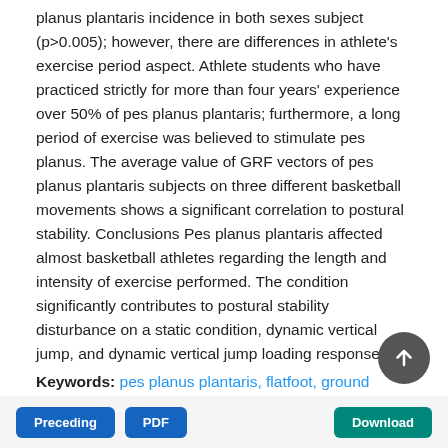planus plantaris incidence in both sexes subject (p>0.005); however, there are differences in athlete's exercise period aspect. Athlete students who have practiced strictly for more than four years' experience over 50% of pes planus plantaris; furthermore, a long period of exercise was believed to stimulate pes planus. The average value of GRF vectors of pes planus plantaris subjects on three different basketball movements shows a significant correlation to postural stability. Conclusions Pes planus plantaris affected almost basketball athletes regarding the length and intensity of exercise performed. The condition significantly contributes to postural stability disturbance on a static condition, dynamic vertical jump, and dynamic vertical jump loading response.
Keywords: pes planus plantaris, flatfoot, ground reaction force, static and dynamic stability
[Figure (other): Scroll-to-top circular button with upward arrow icon]
Preceding | PDF | Download